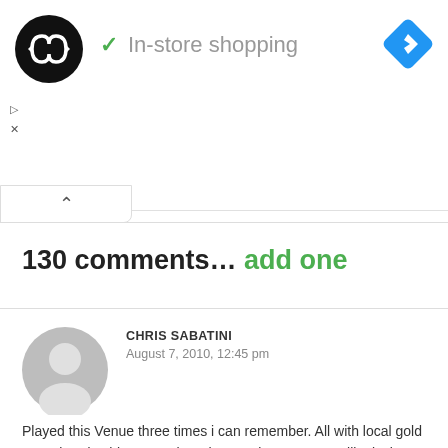[Figure (logo): Black circle logo with white infinity/arrows icon]
✓ In-store shopping
[Figure (logo): Blue diamond navigation/direction icon with white arrow]
▷
✕
∧
130 comments… add one
CHRIS SABATINI
August 7, 2010, 12:45 pm
[Figure (illustration): Generic grey user avatar circle with person silhouette]
Played this Venue three times i can remember. All with local gold coast band "China Zu". There has not been a venue like it since.